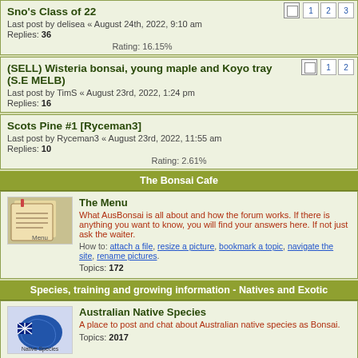Sno's Class of 22
Last post by delisea « August 24th, 2022, 9:10 am
Replies: 36
Rating: 16.15%
(SELL) Wisteria bonsai, young maple and Koyo tray (S.E MELB)
Last post by TimS « August 23rd, 2022, 1:24 pm
Replies: 16
Scots Pine #1 [Ryceman3]
Last post by Ryceman3 « August 23rd, 2022, 11:55 am
Replies: 10
Rating: 2.61%
The Bonsai Cafe
The Menu
What AusBonsai is all about and how the forum works. If there is anything you want to know, you will find your answers here. If not just ask the waiter.
How to: attach a file, resize a picture, bookmark a topic, navigate the site, rename pictures.
Topics: 172
Species, training and growing information - Natives and Exotic
Australian Native Species
A place to post and chat about Australian native species as Bonsai.
Topics: 2017
Deciduous
Forum for discussing of Deciduous bonsai - Maples...